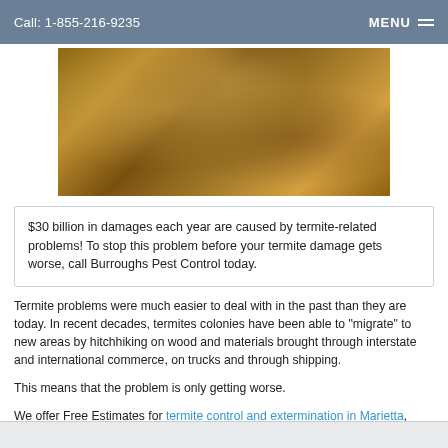Call: 1-855-216-9235  MENU
[Figure (photo): Close-up photo of termite damage on wood, showing brown fibrous deteriorated wood material]
$30 billion in damages each year are caused by termite-related problems! To stop this problem before your termite damage gets worse, call Burroughs Pest Control today.
Termite problems were much easier to deal with in the past than they are today. In recent decades, termites colonies have been able to "migrate" to new areas by hitchhiking on wood and materials brought through interstate and international commerce, on trucks and through shipping.
This means that the problem is only getting worse.
We offer Free Estimates for termite control and extermination in Marietta, Carrollton, Atlanta, and surrounding cities in Georgia.